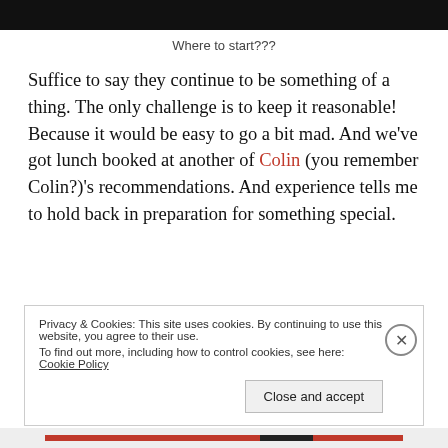[Figure (photo): Dark/black image at top of page (partially visible)]
Where to start???
Suffice to say they continue to be something of a thing. The only challenge is to keep it reasonable! Because it would be easy to go a bit mad. And we’ve got lunch booked at another of Colin (you remember Colin?)’s recommendations. And experience tells me to hold back in preparation for something special.
Privacy & Cookies: This site uses cookies. By continuing to use this website, you agree to their use.
To find out more, including how to control cookies, see here: Cookie Policy
Close and accept